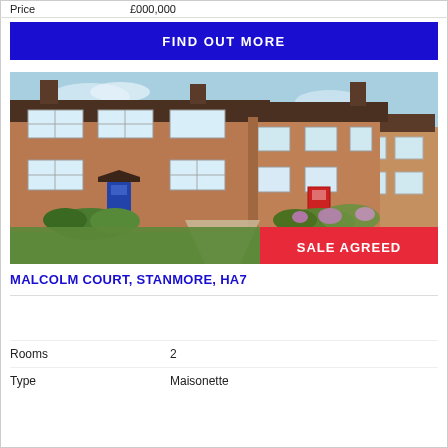| Price | £000,000 |
| --- | --- |
FIND OUT MORE
[Figure (photo): Exterior photo of a brick terraced house with blue and red front doors, gardens, and a 'SALE AGREED' badge overlay in red.]
MALCOLM COURT, STANMORE, HA7
| Rooms | Type |
| --- | --- |
| 2 | Maisonette |